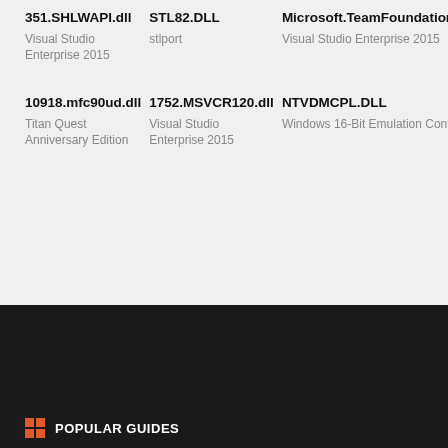351.SHLWAPI.dll
Visual Studio Enterprise 2015
STL82.DLL
stlport
Microsoft.TeamFoundation.WorkItemTracking.Client.QueryLanguage.resources.dll
Visual Studio Enterprise 2015
10918.mfc90ud.dll
Titan Quest Anniversary Edition
1752.MSVCR120.dll
Visual Studio Enterprise 2015
NTVDMCPL.DLL
Windows 16-Bit Emulation Control Panel
POPULAR GUIDES